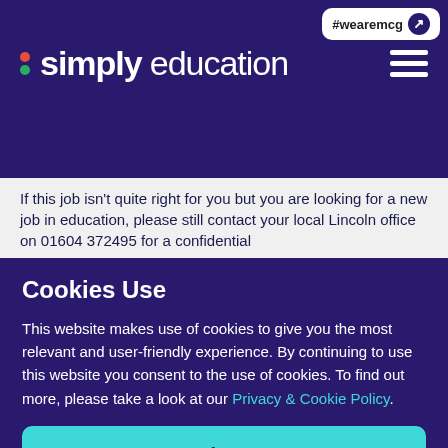#wearemcg
[Figure (logo): Simply Education logo with colored dots and hamburger menu icon on dark navy background]
If this job isn't quite right for you but you are looking for a new job in education, please still contact your local Lincoln office on 01604 372495 for a confidential
Cookies Use
This website makes use of cookies to give you the most relevant and user-friendly experience. By continuing to use this website you consent to the use of cookies. To find out more, please take a look at our Privacy & Cookie Policy.
Close